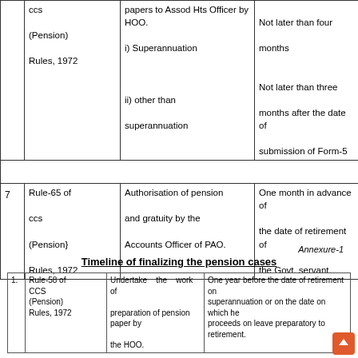|  | Rule | Work | Timeline |
| --- | --- | --- | --- |
|  | ccs (Pension) Rules, 1972 | papers to Assod Hts Officer by HOO.
i) Superannuation
ii) other than superannuation | Not later than four months
Not later than three months after the date of submission of Form-5 |
| 7 | Rule-65 of ccs (Pension} Rules, 1972 | Authorisation of pension and gratuity by the Accounts Officer of PAO. | One month in advance of the date of retirement of the Govt. servant. |
Annexure-1
Timeline of finalizing the pension cases
| No. | Rule | Work | Timeline |
| --- | --- | --- | --- |
| 1. | Rule-58 of CCS (Pension) Rules, 1972 | Undertake the work of preparation of pension paper by the HOO. | One year before the date of retirement on superannuation or on the date on which he proceeds on leave preparatory to retirement. |